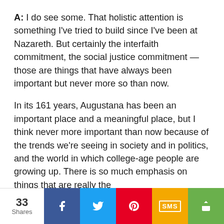A: I do see some. That holistic attention is something I've tried to build since I've been at Nazareth. But certainly the interfaith commitment, the social justice commitment — those are things that have always been important but never more so than now.
In its 161 years, Augustana has been an important place and a meaningful place, but I think never more important than now because of the trends we're seeing in society and in politics, and the world in which college-age people are growing up. There is so much emphasis on things that are really the
33 Shares | Facebook | Twitter | Pinterest | SMS | Share